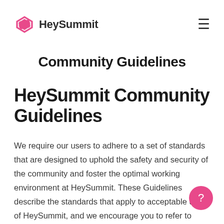HeySummit
Community Guidelines
HeySummit Community Guidelines
We require our users to adhere to a set of standards that are designed to uphold the safety and security of the community and foster the optimal working environment at HeySummit. These Guidelines describe the standards that apply to acceptable use of HeySummit, and we encourage you to refer to them regularly as they evolve. We are